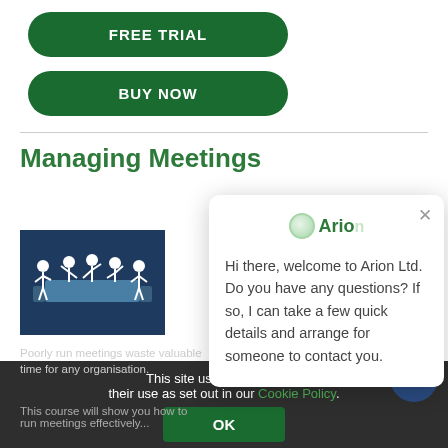[Figure (other): Green pill-shaped button labeled FREE TRIAL]
[Figure (other): Green pill-shaped button labeled BUY NOW]
Managing Meetings
[Figure (illustration): Dark blue background illustration showing people sitting around a meeting table with raised hands]
Poorly run meetings waste valuable time for any organisation.
This course will show you how to run meetings effectively...
This site uses cookies. B... their use as set out in our Cookie Policy.
[Figure (screenshot): Chat popup from Arion Ltd. saying: Hi there, welcome to Arion Ltd. Do you have any questions? If so, I can take a few quick details and arrange for someone to contact you.]
[Figure (other): Dark blue circular chat button in bottom right corner]